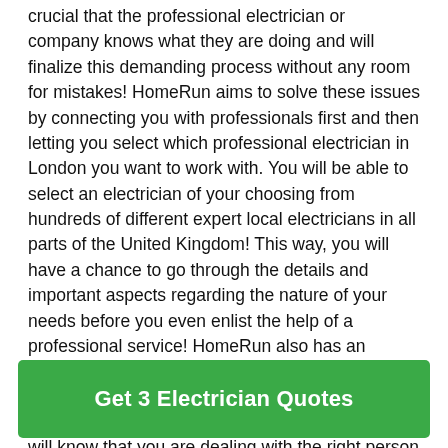crucial that the professional electrician or company knows what they are doing and will finalize this demanding process without any room for mistakes! HomeRun aims to solve these issues by connecting you with professionals first and then letting you select which professional electrician in London you want to work with. You will be able to select an electrician of your choosing from hundreds of different expert local electricians in all parts of the United Kingdom! This way, you will have a chance to go through the details and important aspects regarding the nature of your needs before you even enlist the help of a professional service! HomeRun also has an extensive rating system too where past contractors can rate and comment on professionals and companies. By doing so, you will know that you are dealing with the right person and eliminate any
Get 3 Electrician Quotes